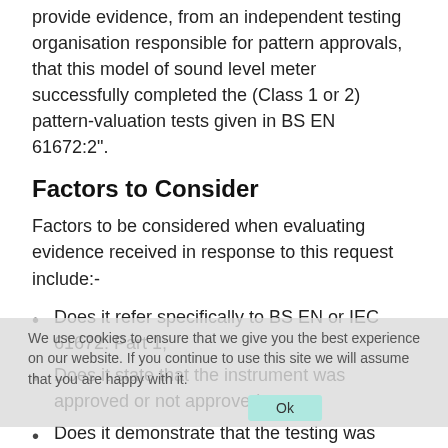provide evidence, from an independent testing organisation responsible for pattern approvals, that this model of sound level meter successfully completed the (Class 1 or 2) pattern-valuation tests given in BS EN 61672:2".
Factors to Consider
Factors to be considered when evaluating evidence received in response to this request include:-
Does it refer specifically to BS EN or IEC 61672: Part 1;
Does it state that the instrument was approved or not approved;
Does it demonstrate that the testing was carried out by an independent testing organisation responsible for pattern approvals;
Does it state that the instrument successfully